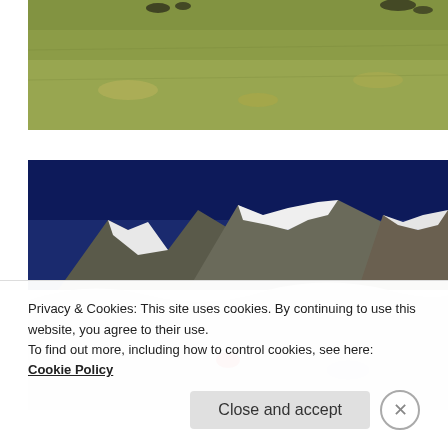[Figure (photo): Aerial or elevated view of a grassy hillside/meadow with shadows of people or animals visible at the top. Dry yellowish-green grass covering a sloped terrain.]
[Figure (photo): Snowy mountain landscape with jagged rocky peaks against a deep blue sky. Snow-covered foreground with a small red object (possibly a tent or person) visible in the lower center.]
Privacy & Cookies: This site uses cookies. By continuing to use this website, you agree to their use.
To find out more, including how to control cookies, see here: Cookie Policy
Close and accept